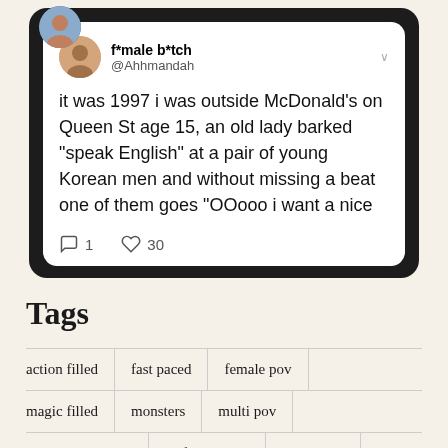[Figure (screenshot): Screenshot of a tweet by f*male b*tch (@Ahhmandah) reading: 'it was 1997 i was outside McDonald's on Queen St age 15, an old lady barked "speak English" at a pair of young Korean men and without missing a beat one of them goes "OOooo i want a nice'. The tweet shows 1 comment and 30 likes.]
Tags
action filled
fast paced
female pov
magic filled
monsters
multi pov
mysterious magic
self published
single pov
spfbo